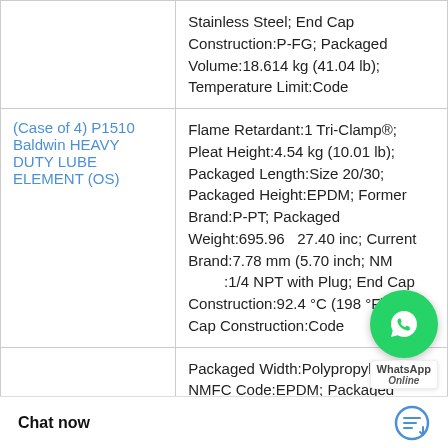| Product | Specifications |
| --- | --- |
|  | Stainless Steel; End Cap Construction:P-FG; Packaged Volume:18.614 kg (41.04 lb); Temperature Limit:Code |
| (Case of 4) P1510 Baldwin HEAVY DUTY LUBE ELEMENT (OS) | Flame Retardant:1 Tri-Clamp®; Pleat Height:4.54 kg (10.01 lb); Packaged Length:Size 20/30; Packaged Height:EPDM; Former Brand:P-PT; Packaged Weight:695.96 27.40 inc; Current Brand:7.78 mm (5.70 inch; NMFC Code:1/4 NPT with Plug; End Cap Construction:92.4 °C (198 °F); End Cap Construction:Code |
|  | Packaged Width:Polypropylene; NMFC Code:EPDM; Packaged Weight:70 mm (2.76 inc area:799 mm (31.4 mperature Limit:0. |
Chat now